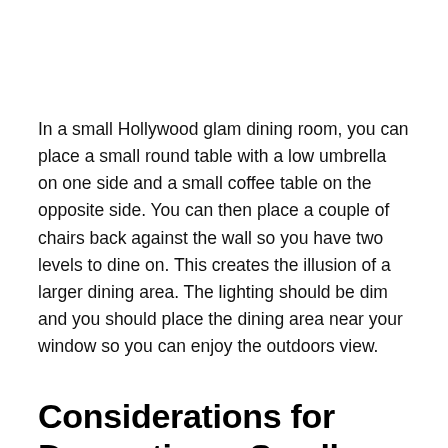In a small Hollywood glam dining room, you can place a small round table with a low umbrella on one side and a small coffee table on the opposite side. You can then place a couple of chairs back against the wall so you have two levels to dine on. This creates the illusion of a larger dining area. The lighting should be dim and you should place the dining area near your window so you can enjoy the outdoors view.
Considerations for Decorating a Small Hollywood Glam Dining Room